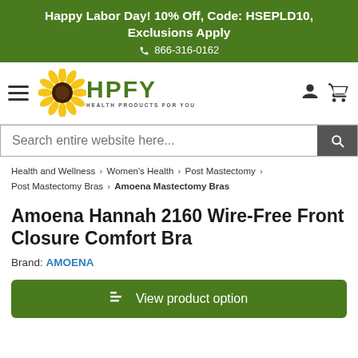Happy Labor Day! 10% Off, Code: HSEPLD10, Exclusions Apply 866-316-0162
[Figure (logo): HPFY Health Products For You logo with sunflower]
Search entire website here...
Health and Wellness > Women's Health > Post Mastectomy > Post Mastectomy Bras > Amoena Mastectomy Bras
Amoena Hannah 2160 Wire-Free Front Closure Comfort Bra
Brand: AMOENA
View product option